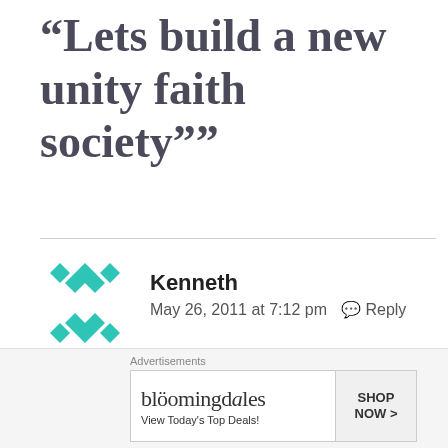“Lets build a new unity faith society””
Kenneth
May 26, 2011 at 7:12 pm  Reply
http://paxromanausa.org/about-information.htm
Advertisements
[Figure (other): Bloomingdale's advertisement banner: 'bloomingdales View Today’s Top Deals!' with SHOP NOW > button]